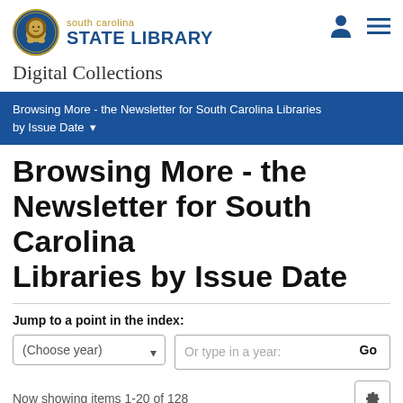[Figure (logo): South Carolina State Library lion seal logo]
south carolina STATE LIBRARY Digital Collections
Browsing More - the Newsletter for South Carolina Libraries by Issue Date ▾
Browsing More - the Newsletter for South Carolina Libraries by Issue Date
Jump to a point in the index:
(Choose year) | Or type in a year: | Go
Now showing items 1-20 of 128
Serving South Carolina with more: the newsletter for South Carolina libraries